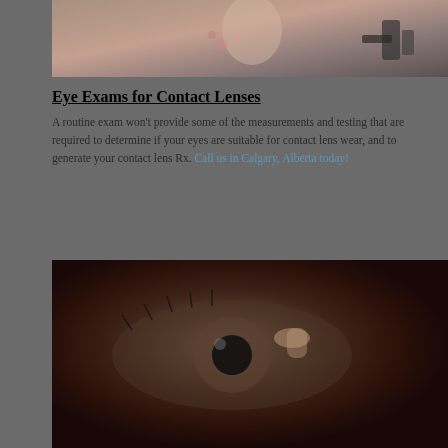[Figure (photo): Photo of a woman in a floral top, partially visible, appears to be in a medical or clinical setting with some equipment visible on the right side.]
Eye Exams for Contact Lenses
A routine exam won't provide some of the measurements and testing that are required to determine if your eyes are suitable for contact lens wear, and to generate your contact lens Rx. Call us in Calgary, Alberta today!
[Figure (photo): Close-up photo of a human eye, showing someone placing or examining a contact lens on the eye. The image is dark-toned.]